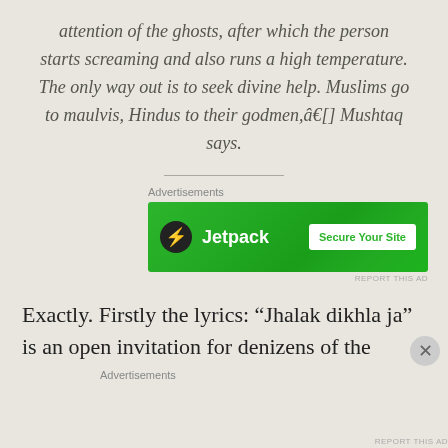attention of the ghosts, after which the person starts screaming and also runs a high temperature. The only way out is to seek divine help. Muslims go to maulvis, Hindus to their godmen,â€[] Mushtaq says.
[Figure (other): Jetpack advertisement banner with green background, Jetpack logo (lightning bolt icon) and text 'Jetpack', and a white button labeled 'Secure Your Site']
Exactly. Firstly the lyrics: “Jhalak dikhla ja” is an open invitation for denizens of the
Advertisements